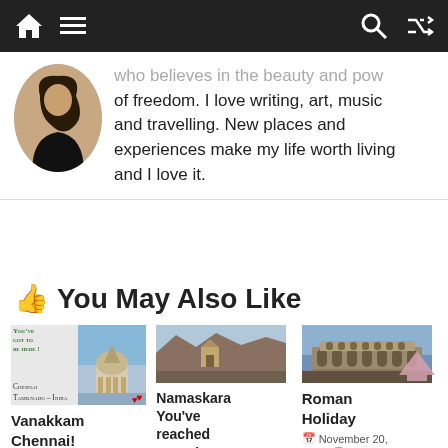Navigation bar with home, menu, search, shuffle icons
who believes in the beauty and power of freedom. I love writing, art, music and travelling. New places and experiences make my life worth living and I love it.
👍 You May Also Like
[Figure (screenshot): Card thumbnail for Vanakkam Chennai post showing a domed building photo with Chennai Tamilnadu India label]
Vanakkam Chennai!
[Figure (photo): Hampi landscape thumbnail]
Namaskara You've reached Hampi !
January 29,
[Figure (photo): Roman Colosseum thumbnail]
Roman Holiday
November 20, 2014 💬 0